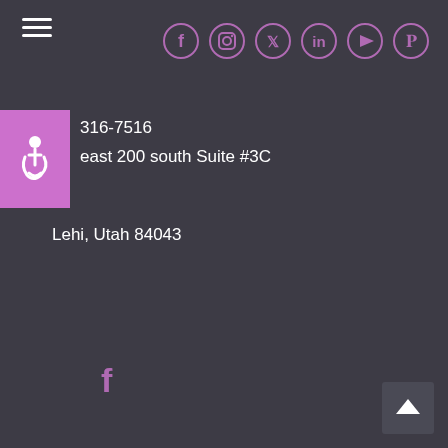[Figure (infographic): Hamburger menu icon (three white horizontal lines) in top left corner]
[Figure (infographic): Row of social media icons (Facebook, Instagram, Twitter, LinkedIn, YouTube, Pinterest) in pink circles, top right]
[Figure (infographic): Pink accessibility icon box with wheelchair symbol on left side]
316-7516
east 200 south Suite #3C
Lehi, Utah 84043
[Figure (infographic): Pink Facebook 'f' icon]
[Figure (infographic): Pink Instagram circle icon]
[Figure (infographic): Pink Google+ 'G+' icon]
[Figure (infographic): Back to top arrow button, bottom right corner]